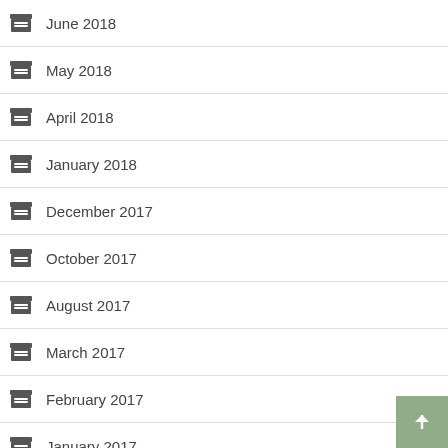June 2018
May 2018
April 2018
January 2018
December 2017
October 2017
August 2017
March 2017
February 2017
January 2017
December 2016
October 2016
December 2015